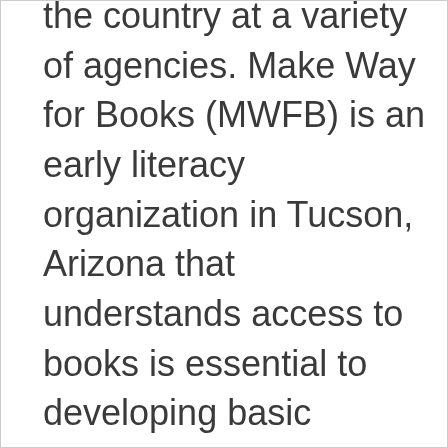the country at a variety of agencies. Make Way for Books (MWFB) is an early literacy organization in Tucson, Arizona that understands access to books is essential to developing basic reading skills, leads to longer and more frequent shared reading between parents and children, and produces increased enjoyment of books and improved attitude towards reading and academics. They have been utilizing the Raising A Reader program to fulfill their mission and have a positive impact on the families in their community. Each year, MWFB serves more than 30,000 children and families and 700 educators.